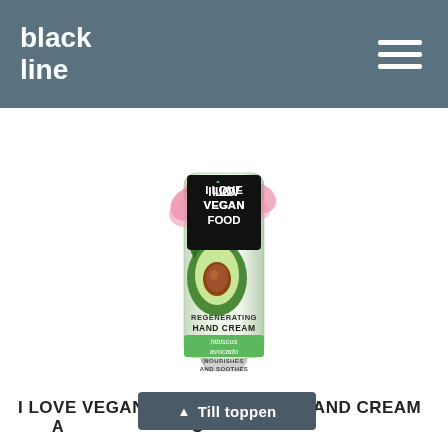black line
[Figure (photo): Hand cream tube product photo - I Love Vegan Food Regenerating Hand Cream with hibiscus and avocado. Green and white tube with avocado illustration and pink hibiscus flowers. Text on tube: I LOVE VEGAN FOOD, REGENERATING HAND CREAM, hibiscus avocado, NOURISHES AND SOOTHES.]
I LOVE VEGAN FOOD REGENERATING HAND CREAM AVOCADO
▲ Till toppen